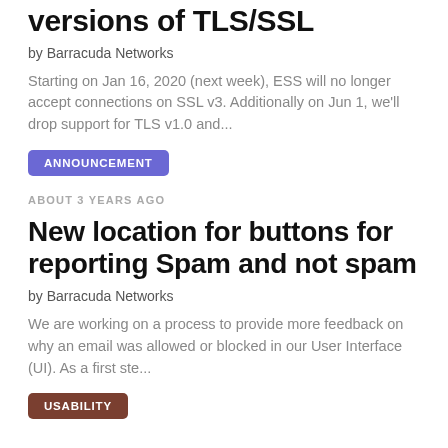versions of TLS/SSL
by Barracuda Networks
Starting on Jan 16, 2020 (next week), ESS will no longer accept connections on SSL v3. Additionally on Jun 1, we'll drop support for TLS v1.0 and...
ANNOUNCEMENT
ABOUT 3 YEARS AGO
New location for buttons for reporting Spam and not spam
by Barracuda Networks
We are working on a process to provide more feedback on why an email was allowed or blocked in our User Interface (UI). As a first ste...
USABILITY